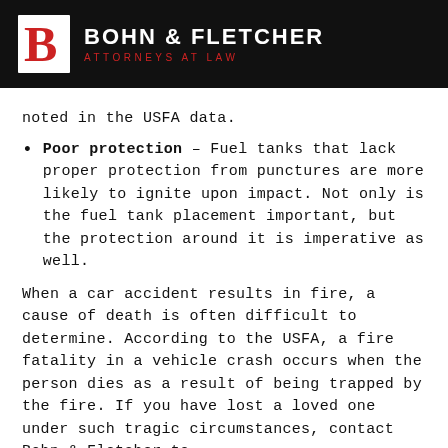Bohn & Fletcher Attorneys at Law
noted in the USFA data.
Poor protection – Fuel tanks that lack proper protection from punctures are more likely to ignite upon impact. Not only is the fuel tank placement important, but the protection around it is imperative as well.
When a car accident results in fire, a cause of death is often difficult to determine. According to the USFA, a fire fatality in a vehicle crash occurs when the person dies as a result of being trapped by the fire. If you have lost a loved one under such tragic circumstances, contact Bohn & Fletcher to